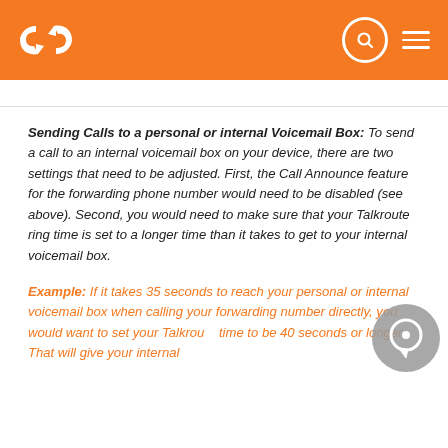Talkroute help page header with logo, search, and menu icons
Sending Calls to a personal or internal Voicemail Box: To send a call to an internal voicemail box on your device, there are two settings that need to be adjusted. First, the Call Announce feature for the forwarding phone number would need to be disabled (see above). Second, you would need to make sure that your Talkroute ring time is set to a longer time than it takes to get to your internal voicemail box.
Example: If it takes 35 seconds to reach your personal or internal voicemail box when calling your forwarding number directly, you would want to set your Talkroute time to be 40 seconds or longer. That will give your internal